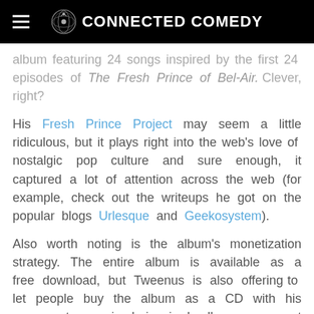CONNECTED COMEDY
album featuring 24 songs inspired by the first 24 episodes of The Fresh Prince of Bel-Air. Clever, right?
His Fresh Prince Project may seem a little ridiculous, but it plays right into the web's love of nostalgic pop culture and sure enough, it captured a lot of attention across the web (for example, check out the writeups he got on the popular blogs Urlesque and Geekosystem).
Also worth noting is the album's monetization strategy. The entire album is available as a free download, but Tweenus is also offering to let people buy the album as a CD with his own custom episode-inspired album cover art for $15. Here's his friendly explanation of the album's economics: